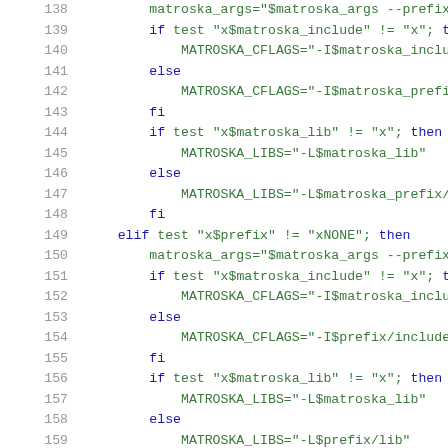Shell script code listing lines 138-158 showing matroska configuration logic with if/elif/else/fi blocks, string comparisons, and variable assignments for MATROSKA_CFLAGS and MATROSKA_LIBS.